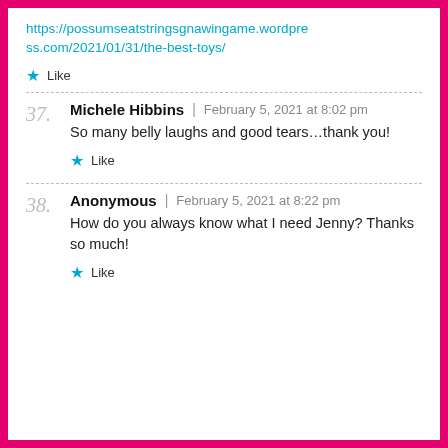https://possumseatstringsgnawingame.wordpress.com/2021/01/31/the-best-toys/
Like
37. Michele Hibbins | February 5, 2021 at 8:02 pm
So many belly laughs and good tears...thank you!
Like
38. Anonymous | February 5, 2021 at 8:22 pm
How do you always know what I need Jenny? Thanks so much!
Like